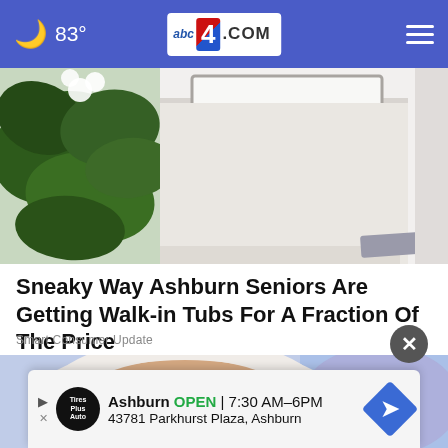🌙 83° | abc4.COM
[Figure (photo): Walk-in bathtub with door cutout on right side, green plant on the left, white tub walls, towel on floor]
Sneaky Way Ashburn Seniors Are Getting Walk-in Tubs For A Fraction Of The Price
Smart Consumer Update
[Figure (photo): Close-up face receiving facial treatment or mask, blurred purple/blue background on right, white padding around face]
Ashburn OPEN | 7:30 AM–6PM
43781 Parkhurst Plaza, Ashburn